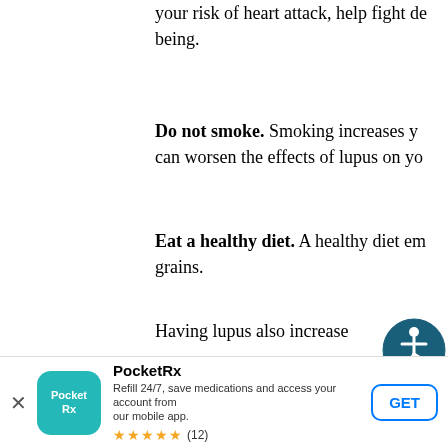your risk of heart attack, help fight de being.
Do not smoke. Smoking increases y can worsen the effects of lupus on yo
Eat a healthy diet. A healthy diet em grains.
Having lupus also increases risk
[Figure (illustration): Accessibility icon — a circular dark teal badge with a white figure in a wheelchair]
infection. People with lupus are m the disease and its treatments we most commonly affect people with respiratory infections, yeast infect
cancer. Having lupus appears to i
[Figure (screenshot): PocketRx app install banner at bottom of screen. App icon is teal rounded square with 'PocketRx' text. Description: 'Refill 24/7, save medications and access your account from our mobile app.' Rating: 5 stars (12 reviews). GET button on right.]